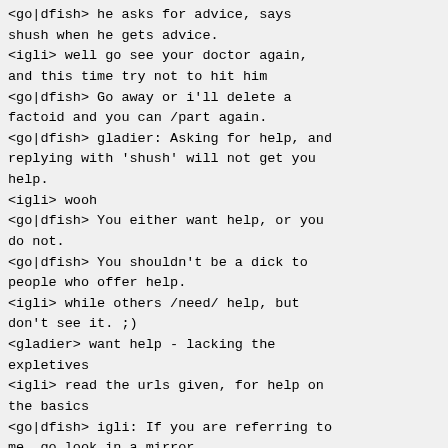<go|dfish> he asks for advice, says shush when he gets advice.
<igli> well go see your doctor again, and this time try not to hit him
<go|dfish> Go away or i'll delete a factoid and you can /part again.
<go|dfish> gladier: Asking for help, and replying with 'shush' will not get you help.
<igli> wooh
<go|dfish> You either want help, or you do not.
<go|dfish> You shouldn't be a dick to people who offer help.
<igli> while others /need/ help, but don't see it. ;)
<gladier> want help - lacking the expletives
<igli> read the urls given, for help on the basics
<go|dfish> igli: If you are referring to me, go look in a mirror.
<go|dfish> gladier: a lack of quotes and not checking cd, would be the initial thing i'd fix.
<go|dfish> You can then clean up stuff